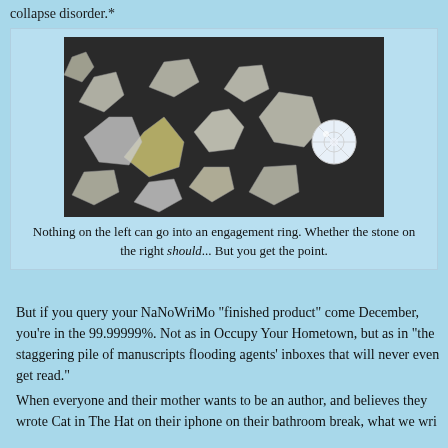collapse disorder.*
[Figure (photo): Photograph of multiple rough, uncut diamonds scattered on a dark surface on the left, and one small polished cut diamond on the right.]
Nothing on the left can go into an engagement ring. Whether the stone on the right should... But you get the point.
But if you query your NaNoWriMo “finished product” come December, you’re in the 99.99999%. Not as in Occupy Your Hometown, but as in “the staggering pile of manuscripts flooding agents’ inboxes that will never even get read.”
When everyone and their mother wants to be an author, and believes they wrote Cat in The Hat on their iphone on their bathroom break, what we wri